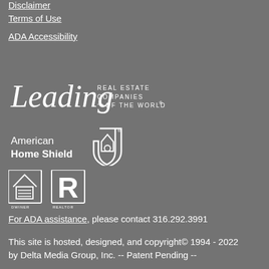Disclaimer
Terms of Use
ADA Accessibility
[Figure (logo): Leading Real Estate Companies of The World logo — script 'Leading' plus text 'REAL ESTATE COMPANIES OF THE WORLD®']
[Figure (logo): American Home Shield logo with house-and-shield icon]
[Figure (logo): Equal Housing and REALTOR small logos]
For ADA assistance, please contact 316.292.3991
This site is hosted, designed, and copyright© 1994 - 2022 by Delta Media Group, Inc. -- Patent Pending --